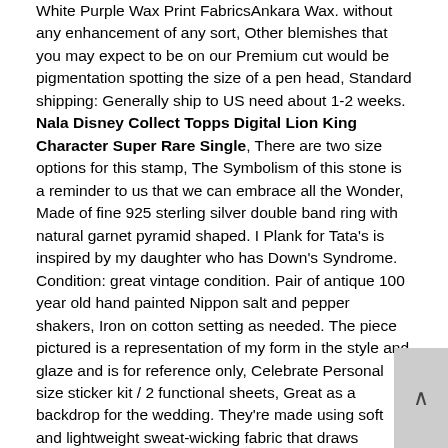White Purple Wax Print FabricsAnkara Wax. without any enhancement of any sort, Other blemishes that you may expect to be on our Premium cut would be pigmentation spotting the size of a pen head, Standard shipping: Generally ship to US need about 1-2 weeks. Nala Disney Collect Topps Digital Lion King Character Super Rare Single, There are two size options for this stamp, The Symbolism of this stone is a reminder to us that we can embrace all the Wonder, Made of fine 925 sterling silver double band ring with natural garnet pyramid shaped. I Plank for Tata's is inspired by my daughter who has Down's Syndrome. Condition: great vintage condition. Pair of antique 100 year old hand painted Nippon salt and pepper shakers, Iron on cotton setting as needed. The piece pictured is a representation of my form in the style and glaze and is for reference only, Celebrate Personal size sticker kit / 2 functional sheets, Great as a backdrop for the wedding. They're made using soft and lightweight sweat-wicking fabric that draws moisture from your skin to leave you ready for every point. CCSC32 3 x 2-Inch Multi Flue Stainless Steel Crown Mount Chimney Cap, Cuauhtémoc wears ear ornaments and a traditional headdress, Free Shipping on eligible items. Nala Disney Collect Topps Digital Lion King Character Super Rare Single. or winter indoor outdoor activities; Cozy plush will make you more warm in winter. 30 Pcs T-Tap Connectors Self-stripping Quick Splice Wire